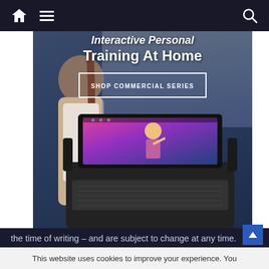Navigation bar with home, menu, and search icons
[Figure (photo): NordicTrack treadmill advertisement showing a woman running on a treadmill with a large touchscreen displaying a fitness trainer. Text overlay reads 'Interactive Personal Training At Home' with a 'SHOP COMMERCIAL SERIES' button.]
the time of writing – and are subject to change at any time.
Before making any purchase, please check the official treadmill sellers' sites for all up-to-date details, terms and conditions and enquiries.
If you have a question or concern about your current Nordictrack treadmill please go to the official Nordictrack company website at Nordictrack.com and contact them
This website uses cookies to improve your experience. You